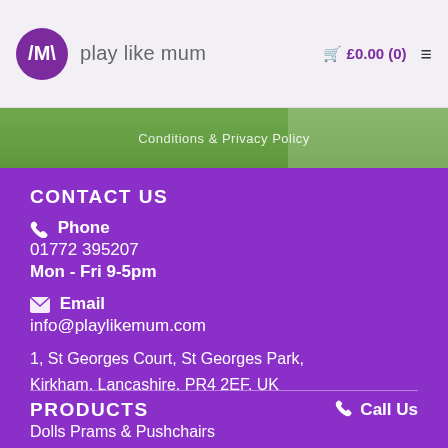play like mum — £0.00 (0)
[Figure (screenshot): Banner image with blurred green outdoor background and text 'Conditions & Privacy Policy']
CONTACT US
📞 Phone
01772 395207
Mon - Fri 9-5pm
✉ Email
info@playlikemum.com
1, St Georges Court, St Georges Park, Kirkham, Lancashire, PR4 2EF, UK
PRODUCTS
Call Us
Dolls Prams & Pushchairs